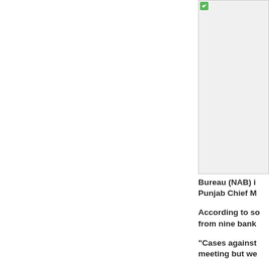[Figure (photo): Partially visible image in the right column, showing a gray/white rectangle with a small green icon in the top-left corner]
Bureau (NAB) i Punjab Chief M
According to so from nine bank
“Cases against meeting but we